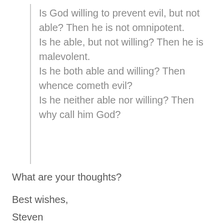Is God willing to prevent evil, but not able? Then he is not omnipotent. Is he able, but not willing? Then he is malevolent. Is he both able and willing? Then whence cometh evil? Is he neither able nor willing? Then why call him God?
What are your thoughts?
Best wishes,
Steven